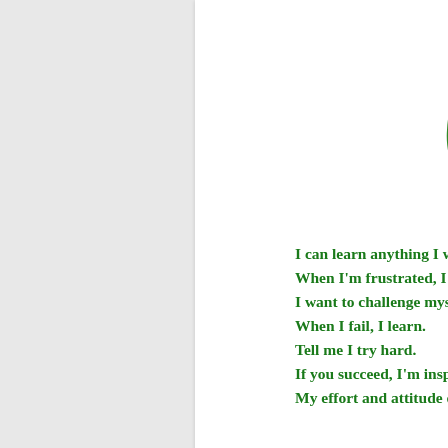[Figure (illustration): Green silhouette of a human head profile facing right, representing growth mindset]
[Figure (illustration): Pink/magenta silhouette of a human head profile facing left, partially cropped, representing fixed mindset]
I can learn anything I want to.
When I'm frustrated, I persevere.
I want to challenge myself.
When I fail, I learn.
Tell me I try hard.
If you succeed, I'm inspired.
My effort and attitude determine everything.
I'm eith...
When ...
I don't...
When ...
Tell me...
If you s...
My abi...
Created by: Reid Wil...
Image Credit: Reid Wilson (@wayfaringp...